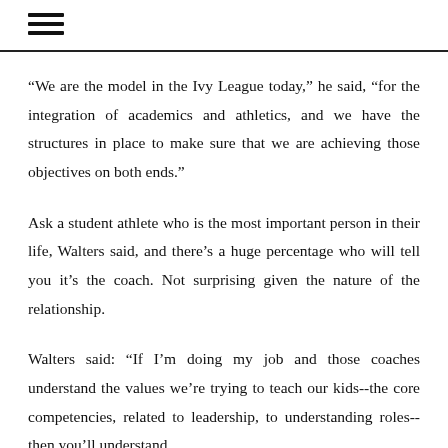“We are the model in the Ivy League today,” he said, “for the integration of academics and athletics, and we have the structures in place to make sure that we are achieving those objectives on both ends.”
Ask a student athlete who is the most important person in their life, Walters said, and there’s a huge percentage who will tell you it’s the coach. Not surprising given the nature of the relationship.
Walters said: “If I’m doing my job and those coaches understand the values we’re trying to teach our kids--the core competencies, related to leadership, to understanding roles--then you’ll understand